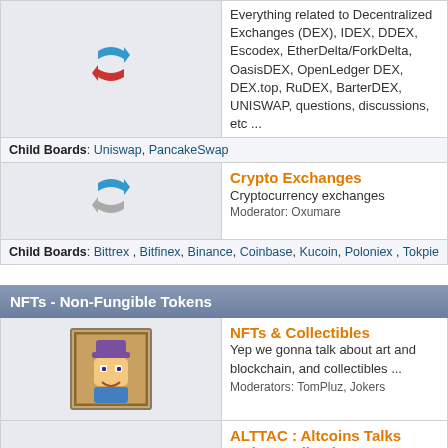Everything related to Decentralized Exchanges (DEX), IDEX, DDEX, Escodex, EtherDelta/ForkDelta, OasisDEX, OpenLedger DEX, DEX.top, RuDEX, BarterDEX, UNISWAP, questions, discussions, etc ...
Child Boards: Uniswap, PancakeSwap
Crypto Exchanges
Cryptocurrency exchanges
Moderator: Oxumare
Child Boards: Bittrex , Bitfinex, Binance, Coinbase, Kucoin, Poloniex , Tokpie
NFTs - Non-Fungible Tokens
NFTs & Collectibles
Yep we gonna talk about art and blockchain, and collectibles ...
Moderators: TomPluz, Jokers
ALTTAC : Altcoins Talks Artists Collective
ALTTAC is an NFTs centered Artists Collective. A group of artists, curators and supporters who work together to support and promote the work of every member of the collective. With shared Collections, marketing and promotional efforts, advocacy, and collaborative works.
NFT Marketplaces